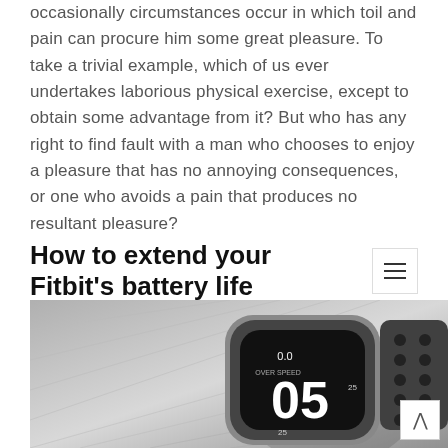occasionally circumstances occur in which toil and pain can procure him some great pleasure. To take a trivial example, which of us ever undertakes laborious physical exercise, except to obtain some advantage from it? But who has any right to find fault with a man who chooses to enjoy a pleasure that has no annoying consequences, or one who avoids a pain that produces no resultant pleasure?
How to extend your Fitbit's battery life
[Figure (photo): Black and white photo of a smartwatch (Fitbit/Apple Watch style) showing display with '05' and '0.0' on a textured fabric background with a perforated band visible]